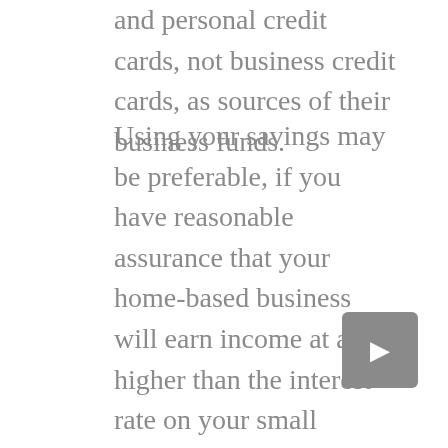and personal credit cards, not business credit cards, as sources of their business funds.
Using your savings may be preferable, if you have reasonable assurance that your home-based business will earn income at a rate higher than the interest rate on your small business credit card. In home equity loans or lines of credit, you will have to pledge the equity of your home. And if your home-based business does not succeed, you could lose your home. On the other hand, unless you use business credit cards for your business, you run the risk of commingling your personal and business expenses, and that makes them harder to manage.
The importance of business credit cards, especially for home-based businesses, cannot be disregarded. Whether the business is home- or office-based, the business needs to keep business finances separate from